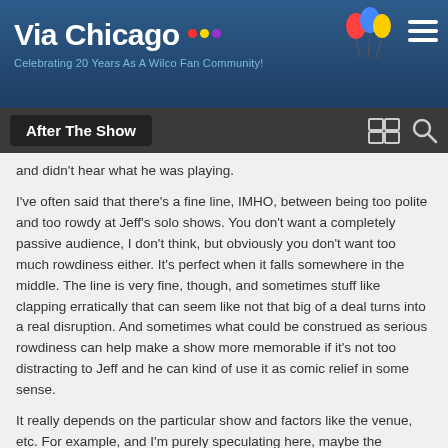Via Chicago — Celebrating 20 Years As A Wilco Fan Community!
After The Show
and didn't hear what he was playing.
I've often said that there's a fine line, IMHO, between being too polite and too rowdy at Jeff's solo shows. You don't want a completely passive audience, I don't think, but obviously you don't want too much rowdiness either. It's perfect when it falls somewhere in the middle. The line is very fine, though, and sometimes stuff like clapping erratically that can seem like not that big of a deal turns into a real disruption. And sometimes what could be construed as serious rowdiness can help make a show more memorable if it's not too distracting to Jeff and he can kind of use it as comic relief in some sense.
It really depends on the particular show and factors like the venue, etc. For example, and I'm purely speculating here, maybe the clapping was particularly annoying last night because the acoustics in the theater were so good and Jeff could really hear it more than usual. This may not be true of all the different factors